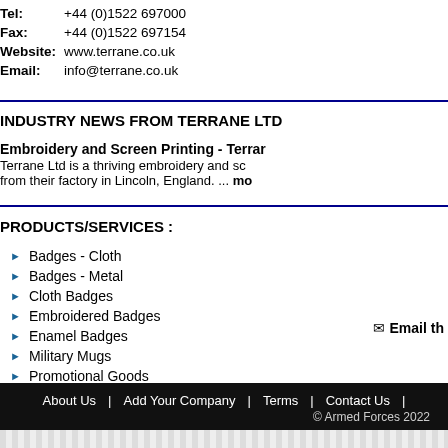Tel: +44 (0)1522 697000
Fax: +44 (0)1522 697154
Website: www.terrane.co.uk
Email: info@terrane.co.uk
INDUSTRY NEWS FROM TERRANE LTD
Embroidery and Screen Printing - Terrane
Terrane Ltd is a thriving embroidery and screen printing company operating from their factory in Lincoln, England. ... mo
PRODUCTS/SERVICES :
Badges - Cloth
Badges - Metal
Cloth Badges
Embroidered Badges
Enamel Badges
Military Mugs
Promotional Goods
Silk Screen Printing
✉ Email th
About Us | Add Your Company | Terms | Contact Us | © Armed Forces 2022